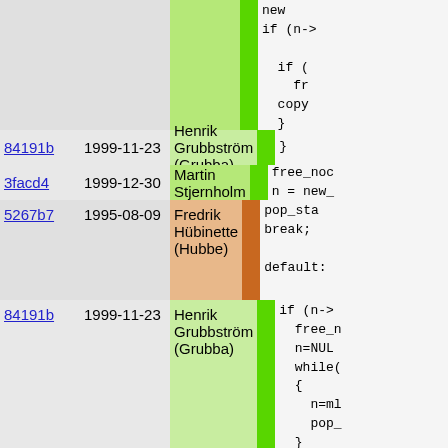[Figure (screenshot): Source code annotation view showing git blame output with commit hashes, dates, author names highlighted in green/orange color bands on left, and corresponding C source code on the right. Rows: (1) top partial green band with code snippet showing 'new', 'if (n->', 'if (', 'fr', 'copy', '}', '}'; (2) 84191b 1999-11-23 Henrik Grubbström (Grubba) with '}'; (3) 3facd4 1999-12-30 Martin Stjernholm with 'free_nod n = new_'; (4) 5267b7 1995-08-09 Fredrik Hübinette (Hubbe) orange with 'pop_sta break; default:'; (5) 84191b 1999-11-23 Henrik Grubbström (Grubba) green with 'if (n-> free_n n=NUL while( { n=ml pop_ } } else node n = NU while( { n=ml']